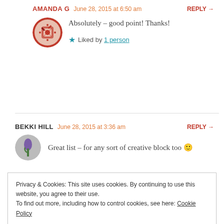AMANDA G   June 28, 2015 at 6:50 am   REPLY →
Absolutely – good point! Thanks!
★ Liked by 1 person
BEKKI HILL   June 28, 2015 at 3:36 am   REPLY →
Great list – for any sort of creative block too 🙂
Privacy & Cookies: This site uses cookies. By continuing to use this website, you agree to their use. To find out more, including how to control cookies, see here: Cookie Policy
Close and accept
Thanks Bekki!